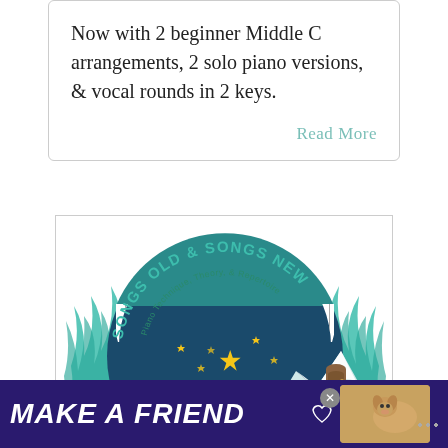Now with 2 beginner Middle C arrangements, 2 solo piano versions, & vocal rounds in 2 keys.
Read More
[Figure (logo): Circular logo for 'Songs Old & Songs New — Piano Technique, Theory, & Repertoire'. Features a piano keyboard arc at top, teal/dark blue night scene with stars, snowy mountains, a door, a pirate ship, a mermaid, and teal wave/flame decorative borders.]
MAKE A FRIEND